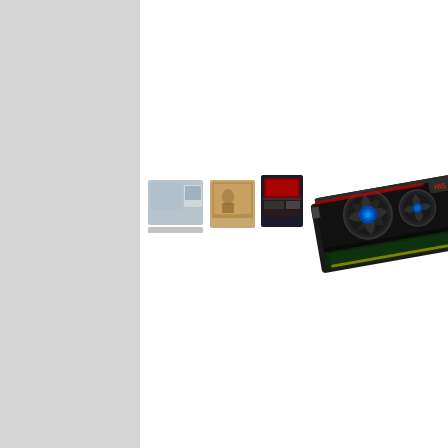[Figure (photo): Two small product images on the left showing what appears to be software boxes or PC components with grey/silver coloring, and a large image on the right showing a graphics card (GPU) - a dark colored PCIe graphics card with a blue fan/cooler and dual slot cooler design, photographed at an angle.]